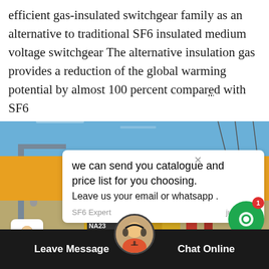efficient gas-insulated switchgear family as an alternative to traditional SF6 insulated medium voltage switchgear The alternative insulation gas provides a reduction of the global warming potential by almost 100 percent compared with SF6
[Figure (screenshot): Chat popup overlay with message: 'we can send you catalogue and price list for you choosing. Leave us your email or whatsapp.' by SF6 Expert, just now. Below is a reply text box with placeholder 'Write a reply..' and like/attachment icons. A green chat notification button with badge '1' is visible top-right. Background shows an industrial switchgear installation photo. Bottom bar shows 'Leave Message' and 'Chat Online' with customer service avatar.]